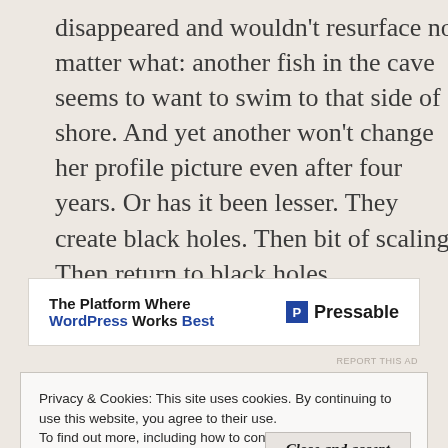disappeared and wouldn't resurface no matter what: another fish in the cave seems to want to swim to that side of shore. And yet another won't change her profile picture even after four years. Or has it been lesser. They create black holes. Then bit of scaling. Then return to black holes.
[Figure (other): Advertisement banner for Pressable: 'The Platform Where WordPress Works Best' with Pressable logo on the right.]
REPORT THIS AD
Privacy & Cookies: This site uses cookies. By continuing to use this website, you agree to their use.
To find out more, including how to control cookies, see here: Cookie Policy
Close and accept